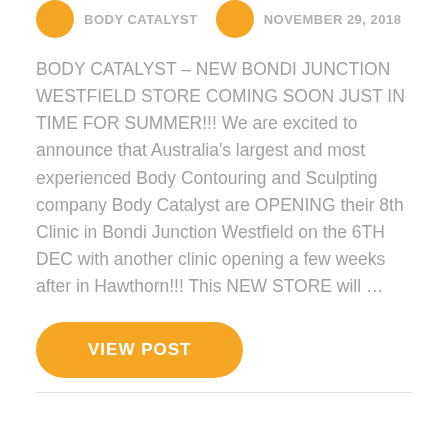BODY CATALYST   NOVEMBER 29, 2018
BODY CATALYST – NEW BONDI JUNCTION WESTFIELD STORE COMING SOON JUST IN TIME FOR SUMMER!!! We are excited to announce that Australia's largest and most experienced Body Contouring and Sculpting company Body Catalyst are OPENING their 8th Clinic in Bondi Junction Westfield on the 6TH DEC with another clinic opening a few weeks after in Hawthorn!!! This NEW STORE will …
VIEW POST